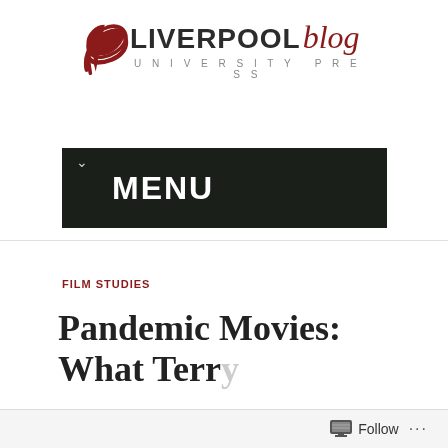[Figure (logo): Liverpool University Press Blog logo with red swoosh icon, bold LIVERPOOL text, italic red 'blog' text, and UNIVERSITY PRESS subtitle]
[Figure (screenshot): Dark navigation menu bar with chevron icon and MENU text in white on dark background]
FILM STUDIES
Pandemic Movies: What Terr…